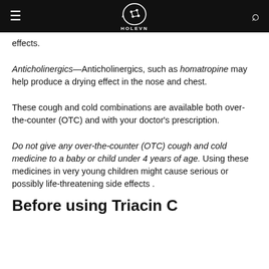HOLEVN
effects.
Anticholinergics—Anticholinergics, such as homatropine may help produce a drying effect in the nose and chest.
These cough and cold combinations are available both over-the-counter (OTC) and with your doctor's prescription.
Do not give any over-the-counter (OTC) cough and cold medicine to a baby or child under 4 years of age. Using these medicines in very young children might cause serious or possibly life-threatening side effects .
Before using Triacin C